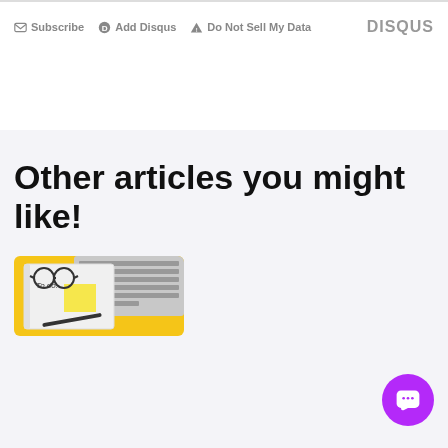Subscribe  Add Disqus  Do Not Sell My Data    DISQUS
Other articles you might like!
[Figure (photo): Photo of a notebook with 'To do.' written on it, a yellow sticky note, glasses, and a laptop keyboard on a yellow background]